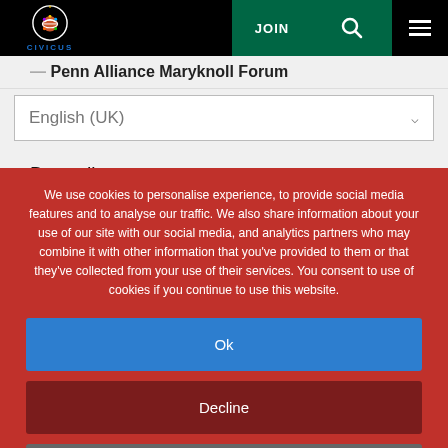CIVICUS | JOIN | Search | Menu
Penn Alliance Maryknoll Forum
English (UK)
Burundi
Maryknoll Affiliates
Maryknoll Office for Global Concerns
We use cookies to personalise experience, to provide social media features and to analyse our traffic. We also share information about your use of our site with our social media, and analytics partners who may combine it with other information that you've provided to them or that they've collected from your use of their services. You consent to use of cookies if you continue to use this website.
Ok
Decline
Settings